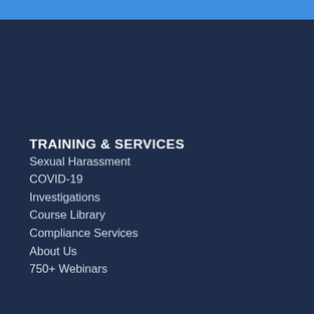TRAINING & SERVICES
Sexual Harassment
COVID-19
Investigations
Course Library
Compliance Services
About Us
750+ Webinars